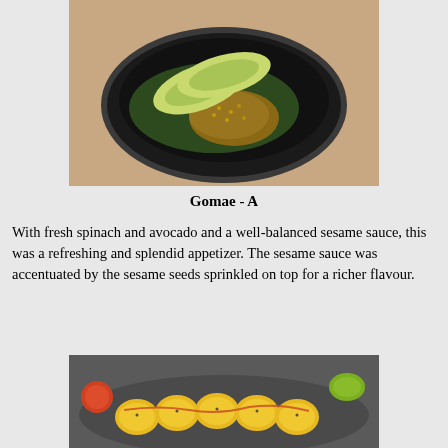[Figure (photo): A black bowl containing spinach gomae topped with sesame seeds and avocado slices, placed on a light granite surface.]
Gomae - A
With fresh spinach and avocado and a well-balanced sesame sauce, this was a refreshing and splendid appetizer. The sesame sauce was accentuated by the sesame seeds sprinkled on top for a richer flavour.
[Figure (photo): A plate of golden baked sushi rolls with sesame seeds and sauce drizzle, garnished with tomato and lime slices.]